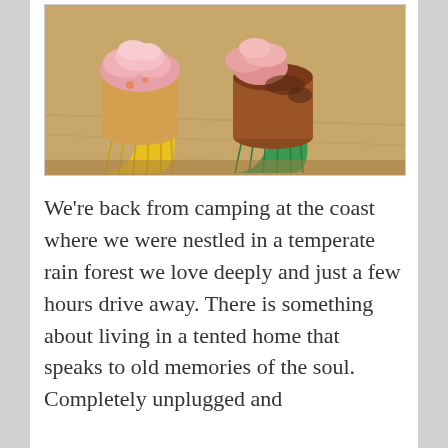[Figure (photo): Two cupcakes with pink frosting, one in a yellow paper cup and one in a green paper cup, sitting on a wooden surface.]
We're back from camping at the coast where we were nestled in a temperate rain forest we love deeply and just a few hours drive away. There is something about living in a tented home that speaks to old memories of the soul. Completely unplugged and